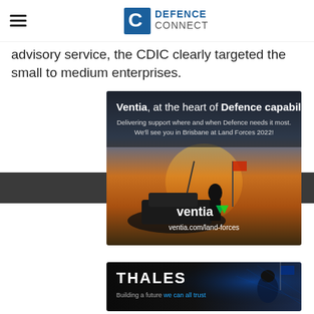Defence Connect
advisory service, the CDIC clearly targeted the small to medium enterprises.
[Figure (advertisement): Ventia advertisement: 'Ventia, at the heart of Defence capability. Delivering support where and when Defence needs it most. We'll see you in Brisbane at Land Forces 2022! ventia.com/land-forces' — shown over a military vehicle at sunset background.]
[Figure (advertisement): Thales advertisement: 'THALES — Building a future we can all trust' — shown with soldier in blue-toned digital background.]